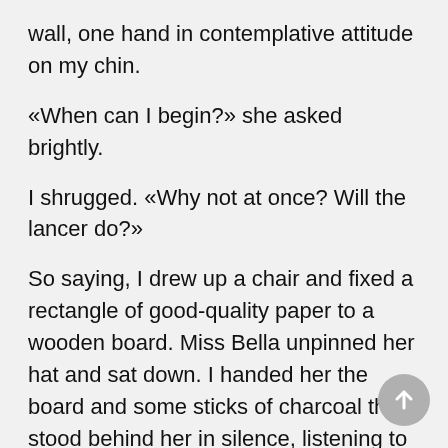wall, one hand in contemplative attitude on my chin.
«When can I begin?» she asked brightly.
I shrugged. «Why not at once? Will the lancer do?»
So saying, I drew up a chair and fixed a rectangle of good-quality paper to a wooden board. Miss Bella unpinned her hat and sat down. I handed her the board and some sticks of charcoal then stood behind her in silence, listening to the sound of her breathing and the sweet, liquid tick made by her lips as they parted.
I grinned happily to myself, deriving curious satisfaction from the quiet,